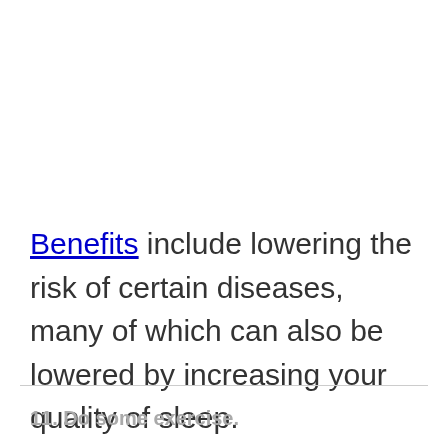Benefits include lowering the risk of certain diseases, many of which can also be lowered by increasing your quality of sleep.
11. Do some exercise.